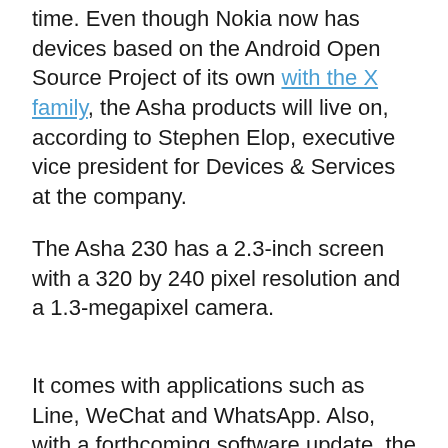time. Even though Nokia now has devices based on the Android Open Source Project of its own with the X family, the Asha products will live on, according to Stephen Elop, executive vice president for Devices & Services at the company.
The Asha 230 has a 2.3-inch screen with a 320 by 240 pixel resolution and a 1.3-megapixel camera.
It comes with applications such as Line, WeChat and WhatsApp. Also, with a forthcoming software update, the Asha 230 get 7GB of free storage on Microsoft's OneDrive, and the option to automatically back up photos to the cloud. That integration will also be available on other Asha models via a software update in April